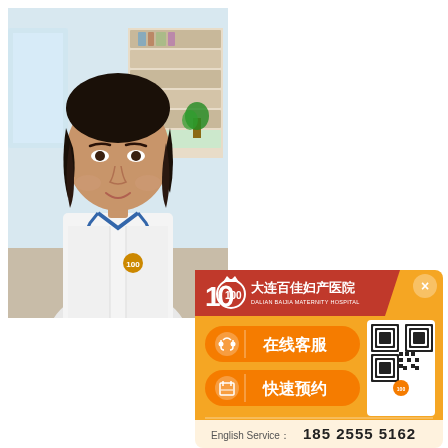[Figure (photo): Portrait photo of Ma Hongyan, a female doctor wearing a white lab coat with blue trim and a hospital badge, standing in a medical office with bookshelves in the background.]
Ma Hongyan
Imaging Consultant
Personal profile：
Ma Hongyan: Consu...
Work in the ultrasoni...
Chinese peoples libe...
[Figure (infographic): Orange popup card from Dalian Baijia Maternity Hospital (大连百佳妇产医院) with red ribbon header showing hospital logo '100', two orange rounded buttons labeled '在线客服' (Online Customer Service) and '快速预约' (Quick Appointment), a QR code on the right side, and English Service number: 185 2555 5162 at the bottom.]